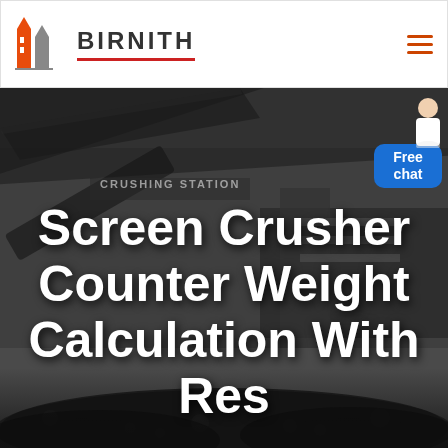[Figure (screenshot): Birnith website header with logo (orange/grey building icon), brand name BIRNITH with red underline, and orange hamburger menu icon on right]
[Figure (photo): Industrial crushing station machinery in dark/grey background with conveyor belt and rock aggregate]
[Figure (infographic): Blue Free chat badge with person icon in top right corner]
Screen Crusher Counter Weight Calculation With Res